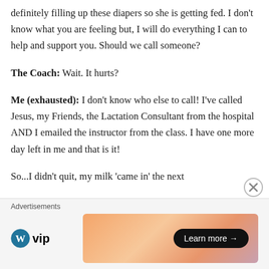definitely filling up these diapers so she is getting fed. I don't know what you are feeling but, I will do everything I can to help and support you. Should we call someone?
The Coach: Wait. It hurts?
Me (exhausted): I don't know who else to call! I've called Jesus, my Friends, the Lactation Consultant from the hospital AND I emailed the instructor from the class. I have one more day left in me and that is it!
So...I didn't quit, my milk 'came in' the next
[Figure (screenshot): WordPress VIP advertisement banner with 'Learn more' button on a gradient orange/pink background, with a close button overlay]
Advertisements